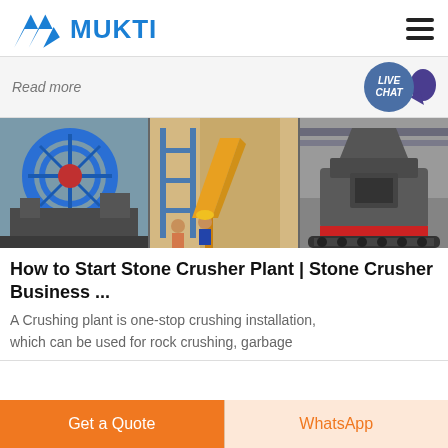MUKTI
Read more
[Figure (photo): Three industrial images side by side: a large blue rotating sand washing wheel machine on the left, scaffolding and yellow industrial conveyor structure in the center, and a stone crusher/jaw crusher machine on the right with two workers visible in the center image.]
How to Start Stone Crusher Plant | Stone Crusher Business ...
A Crushing plant is one-stop crushing installation, which can be used for rock crushing, garbage
Get a Quote
WhatsApp